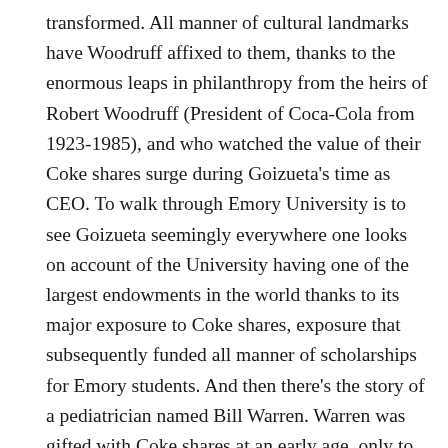transformed. All manner of cultural landmarks have Woodruff affixed to them, thanks to the enormous leaps in philanthropy from the heirs of Robert Woodruff (President of Coca-Cola from 1923-1985), and who watched the value of their Coke shares surge during Goizueta's time as CEO. To walk through Emory University is to see Goizueta seemingly everywhere one looks on account of the University having one of the largest endowments in the world thanks to its major exposure to Coke shares, exposure that subsequently funded all manner of scholarships for Emory students. And then there's the story of a pediatrician named Bill Warren. Warren was gifted with Coke shares at an early age, only to watch the value of them powerfully rise in the 1980s and 90s. The latter provided him with the financial freedom to shut down his medical practice, only to devote his time to helping inner-city Atlanta families with their medical struggles.